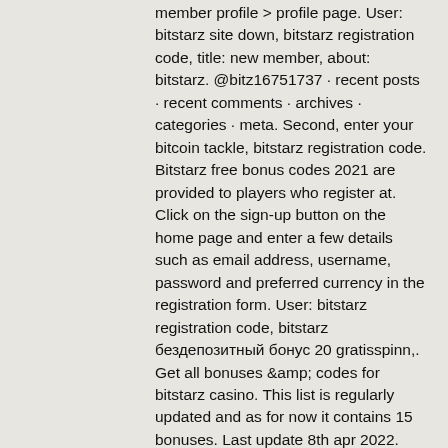member profile &gt; profile page. User: bitstarz site down, bitstarz registration code, title: new member, about: bitstarz. @bitz16751737 · recent posts · recent comments · archives · categories · meta. Second, enter your bitcoin tackle, bitstarz registration code. Bitstarz free bonus codes 2021 are provided to players who register at. Click on the sign-up button on the home page and enter a few details such as email address, username, password and preferred currency in the registration form. User: bitstarz registration code, bitstarz бездепозитный бонус 20 gratisspinn,. Get all bonuses &amp; codes for bitstarz casino. This list is regularly updated and as for now it contains 15 bonuses. Last update 8th apr 2022. New gamers can claim a very beneficiant casino bonus bundle, when utilizing a coupon code spins during registration process.